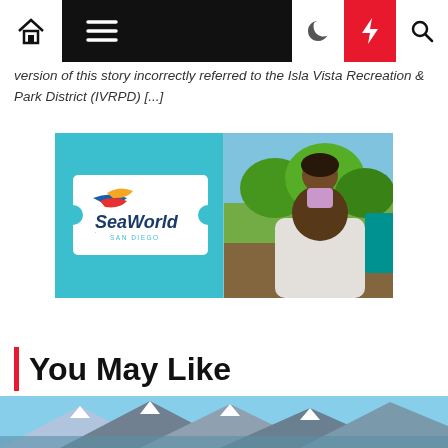Navigation bar with home, menu, moon, lightning, and search icons
version of this story incorrectly referred to the Isla Vista Recreation & Park District (IVRPD) [...]
[Figure (photo): SeaWorld San Diego promotional image: left half shows a SeaWorld ticket on aqua blue background; right half shows a smiling father with a young girl on his shoulders outdoors.]
You May Like
[Figure (photo): Partial bottom strip of a mountain landscape photo.]